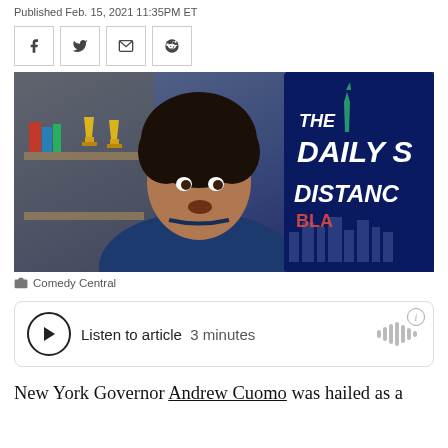Published Feb. 15, 2021 11:35PM ET
[Figure (other): Four social share buttons: Facebook (f), Twitter (bird), email (envelope), Reddit (alien) — each in a small square border box]
[Figure (photo): Trevor Noah sitting in front of a bookshelf with trophies, wearing a navy hoodie. Behind him a TV screen shows 'The Daily Show at a Distance' branding with the Statue of Liberty and NYC skyline.]
Comedy Central
[Figure (other): Audio player widget with a circular play button, text 'Listen to article 3 minutes', and a sound wave / bars icon on the right, with an info circle icon in the top-right corner.]
New York Governor Andrew Cuomo was hailed as a